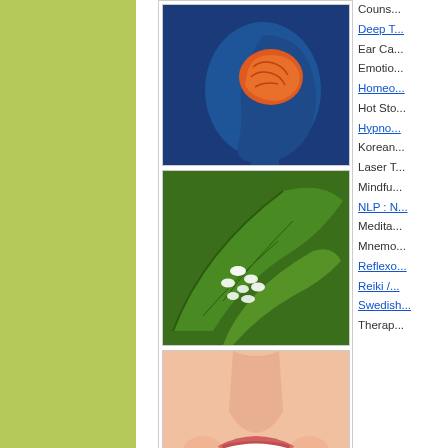[Figure (illustration): Left side large green/lime colored panel background]
[Figure (photo): Brain scan / X-ray style image of human head showing brain in blue tones with orange/red brain visible]
[Figure (photo): Green leaves with white homeopathic pills/pellets on them]
[Figure (photo): Close up of smiling woman showing white teeth]
[Figure (photo): Hands holding small green plant seedling growing from soil]
Couns...
Deep T...
Ear Ca...
Emotio...
Homeo...
Hot Sto...
Hypno...
Korean...
Laser T...
Mindfu...
NLP : N...
Medita...
Mnemo...
Reflexo...
Reiki /...
Swedish...
Therap...
We have Rooms Av...
We have rooms available for q... Chiropractor, Aromatherapist, K... Therapist, Colour Therapist, C... Music Therapist, Osteopath, T... Therapist, Psychologist, Physi...